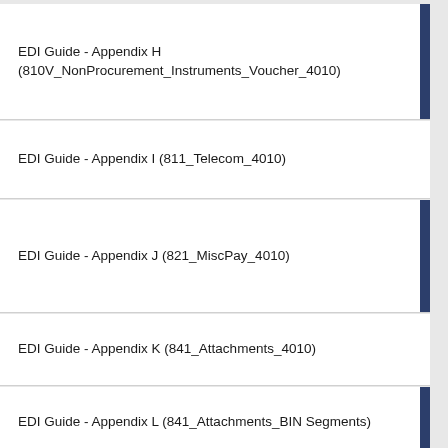EDI Guide - Appendix H (810V_NonProcurement_Instruments_Voucher_4010)
EDI Guide - Appendix I (811_Telecom_4010)
EDI Guide - Appendix J (821_MiscPay_4010)
EDI Guide - Appendix K (841_Attachments_4010)
EDI Guide - Appendix L (841_Attachments_BIN Segments)
EDI Guide - Appendix M (856_Property_4010)